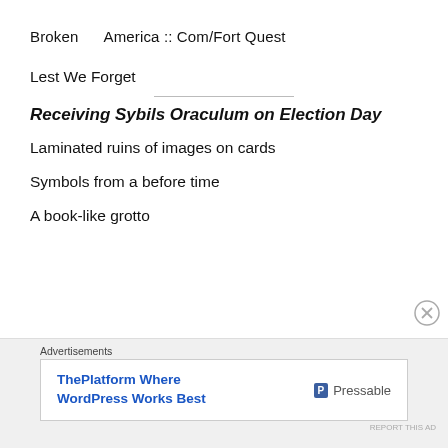Broken     America :: Com/Fort Quest
Lest We Forget
Receiving Sybils Oraculum on Election Day
Laminated ruins of images on cards
Symbols from a before time
A book-like grotto
Advertisements
ThePlatform Where WordPress Works Best   Pressable